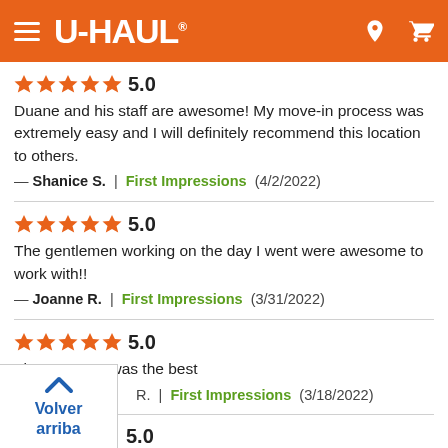[Figure (screenshot): U-Haul website header with orange background, hamburger menu, U-Haul logo, location pin icon and cart icon]
★★★★★ 5.0
Duane and his staff are awesome! My move-in process was extremely easy and I will definitely recommend this location to others.
— Shanice S.  |  First Impressions  (4/2/2022)
★★★★★ 5.0
The gentlemen working on the day I went were awesome to work with!!
— Joanne R.  |  First Impressions  (3/31/2022)
★★★★★ 5.0
The manager was the best
— R.  |  First Impressions  (3/18/2022)
[Figure (screenshot): Back to top button overlay with upward chevron arrow and 'Volver arriba' text in blue]
★★★★★ 5.0
But if they take the lock off your storage unit you shouldn't have to